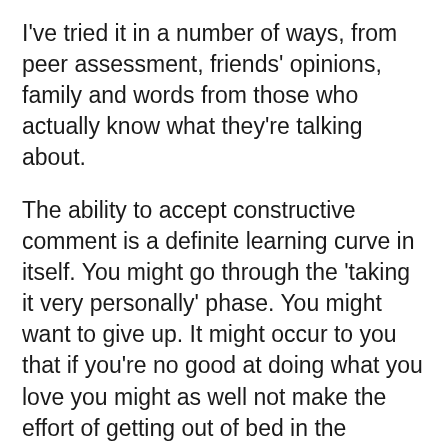I've tried it in a number of ways, from peer assessment, friends' opinions, family and words from those who actually know what they're talking about.
The ability to accept constructive comment is a definite learning curve in itself. You might go through the 'taking it very personally' phase. You might want to give up. It might occur to you that if you're no good at doing what you love you might as well not make the effort of getting out of bed in the morning.
The phases need to be grown through. Eventually, we can get to the point of realising that truly well intentioned criticism is our friend. We need to walk with it. Accept it into our